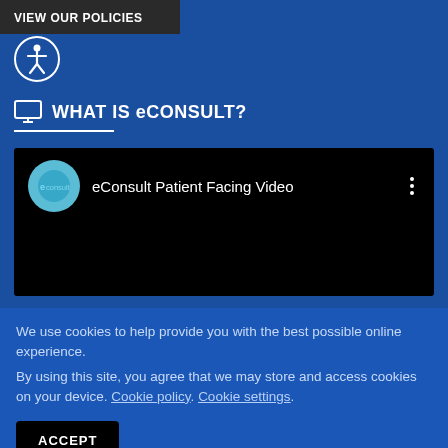VIEW OUR POLICIES
[Figure (other): Accessibility icon — circle with person/wheelchair symbol]
WHAT IS eCONSULT?
[Figure (screenshot): eConsult Patient Facing Video embedded player with eConsult logo and three-dot menu]
We use cookies to help provide you with the best possible online experience.
By using this site, you agree that we may store and access cookies on your device. Cookie policy. Cookie settings.
ACCEPT